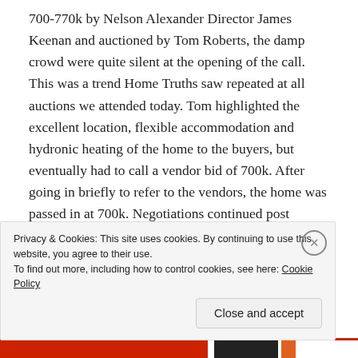700-770k by Nelson Alexander Director James Keenan and auctioned by Tom Roberts, the damp crowd were quite silent at the opening of the call. This was a trend Home Truths saw repeated at all auctions we attended today. Tom highlighted the excellent location, flexible accommodation and hydronic heating of the home to the buyers, but eventually had to call a vendor bid of 700k. After going in briefly to refer to the vendors, the home was passed in at 700k. Negotiations continued post auction, with the home successfully selling shortly after for 760k. This goes to show that simply because a property is passed in at auction, it doesn't mean that a
Privacy & Cookies: This site uses cookies. By continuing to use this website, you agree to their use.
To find out more, including how to control cookies, see here: Cookie Policy
Close and accept